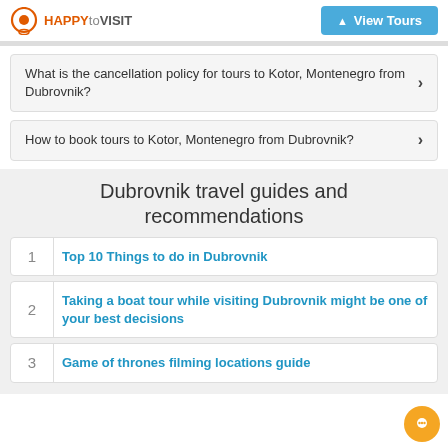HAPPYtoVISIT | View Tours
What is the cancellation policy for tours to Kotor, Montenegro from Dubrovnik?
How to book tours to Kotor, Montenegro from Dubrovnik?
Dubrovnik travel guides and recommendations
1 Top 10 Things to do in Dubrovnik
2 Taking a boat tour while visiting Dubrovnik might be one of your best decisions
3 Game of thrones filming locations guide